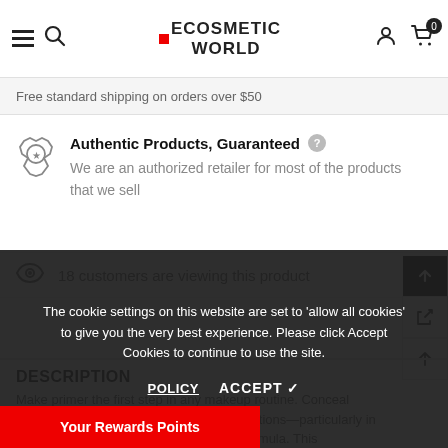ECOSMETIC WORLD — Free standard shipping on orders over $50
Authentic Products, Guaranteed
We are an authorized retailer for most of the products that we sell
18 customers are viewing this product
DESCRIPTION
Make primer the first step in any makeup routine. Conceal visible pores, control oil, and blur imperfections—particularly in the T-zone—with this cream-to-powder formula. This w... her syncs seamlessly with all skin
The cookie settings on this website are set to 'allow all cookies' to give you the very best experience. Please click Accept Cookies to continue to use the site.
Your Rewards Points